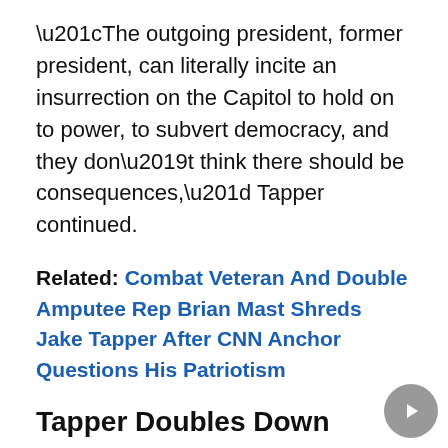“The outgoing president, former president, can literally incite an insurrection on the Capitol to hold on to power, to subvert democracy, and they don’t think there should be consequences,” Tapper continued.
Related: Combat Veteran And Double Amputee Rep Brian Mast Shreds Jake Tapper After CNN Anchor Questions His Patriotism
Tapper Doubles Down
Not stopping there, Tapper proceeded to double down with his unhinged attack on Republicans.